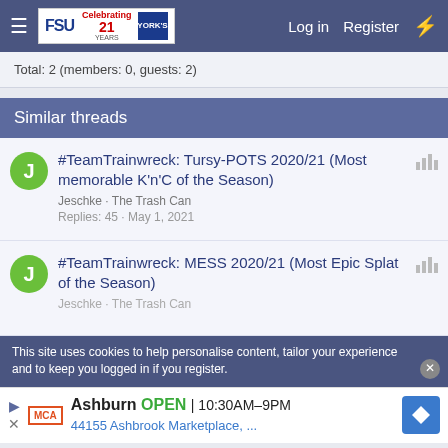FSU Forum — Log in  Register
Total: 2 (members: 0, guests: 2)
Similar threads
#TeamTrainwreck: Tursy-POTS 2020/21 (Most memorable K'n'C of the Season)
Jeschke · The Trash Can
Replies: 45 · May 1, 2021
#TeamTrainwreck: MESS 2020/21 (Most Epic Splat of the Season)
Jeschke · The Trash Can
This site uses cookies to help personalise content, tailor your experience and to keep you logged in if you register.
Ashburn  OPEN  10:30AM–9PM
44155 Ashbrook Marketplace, ...